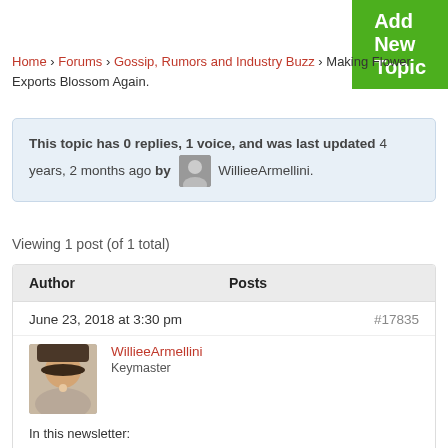Add New Topic
Home › Forums › Gossip, Rumors and Industry Buzz › Making Flower Exports Blossom Again.
This topic has 0 replies, 1 voice, and was last updated 4 years, 2 months ago by WillieeArmellini.
Viewing 1 post (of 1 total)
| Author | Posts |
| --- | --- |
| June 23, 2018 at 3:30 pm | #17835 |
| WillieeArmellini
Keymaster | In this newsletter:
• Making Flower Exports Blossom Again.
• Horticulture in Zimbabwe getting ready for a strong comeback.
• Updated floor plan. |
Making Flower Exports Blossom Again.
Horticulture in Zimbabwe getting ready for a strong comeback.
Updated floor plan.